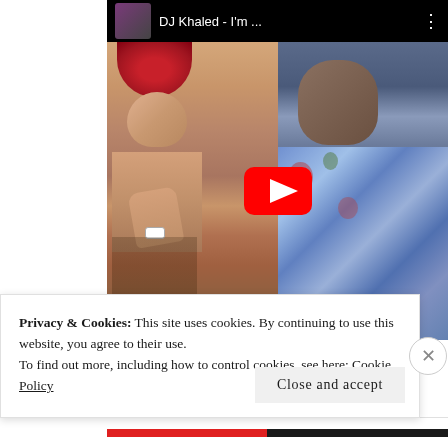[Figure (screenshot): YouTube video embed showing DJ Khaled - I'm... music video thumbnail with two men, one shirtless with tattoos and a red bandana, one in a blue floral shirt, with a YouTube play button overlay. Video title bar at top shows 'DJ Khaled - I'm ...' with a thumbnail and three-dot menu.]
Privacy & Cookies: This site uses cookies. By continuing to use this website, you agree to their use.
To find out more, including how to control cookies, see here: Cookie Policy
Close and accept